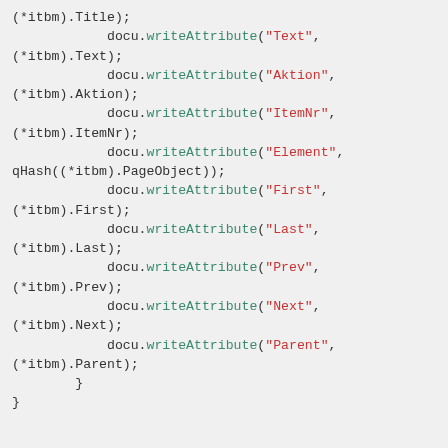Code snippet showing writeAttribute calls and writeColors function declaration in C++